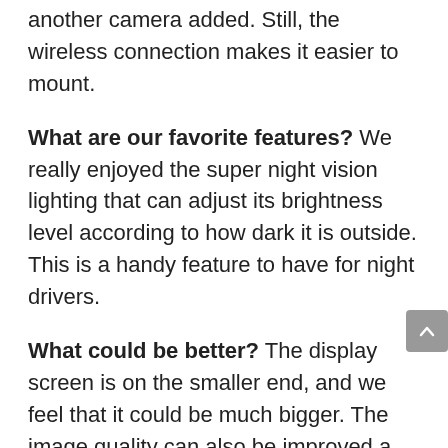another camera added. Still, the wireless connection makes it easier to mount.
What are our favorite features? We really enjoyed the super night vision lighting that can adjust its brightness level according to how dark it is outside. This is a handy feature to have for night drivers.
What could be better? The display screen is on the smaller end, and we feel that it could be much bigger. The image quality can also be improved a bit.